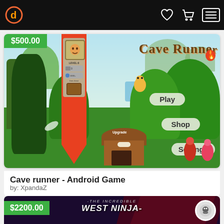Header navigation bar with logo, heart icon, cart icon, and menu button
[Figure (screenshot): Cave Runner Android game screenshot showing jungle scene with character menu, Play/Shop/Settings options, $500.00 price badge]
Cave runner - Android Game
by: XpandaZ
[Figure (screenshot): The Incredible West Ninja game screenshot with dark background and red geometric patterns, $2200.00 price badge]